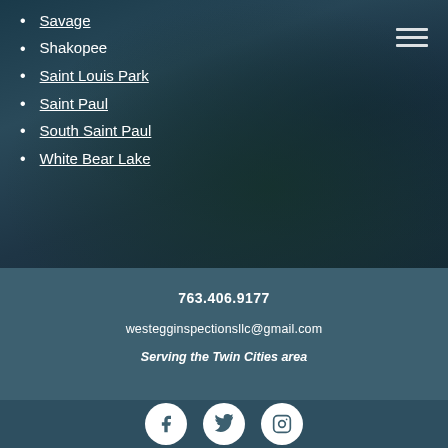Savage
Shakopee
Saint Louis Park
Saint Paul
South Saint Paul
White Bear Lake
763.406.9177
westegginspectionsllc@gmail.com
Serving the Twin Cities area
[Figure (infographic): Social media icons: Facebook, Twitter, Instagram]